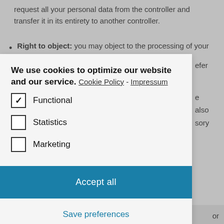request all your personal data from the controller and transfer it in its entirety to another controller.
Right to object: you may object to the processing of your data. We comply with this, unless there are justified grounds for processing.
[Figure (screenshot): Cookie consent modal dialog with title 'We use cookies to optimize our website and our service.' with links 'Cookie Policy' and 'Impressum', checkboxes for Functional (checked), Statistics (unchecked), Marketing (unchecked), an 'Accept all' button and 'Save preferences' button.]
manually delete cookies. You can also specify that